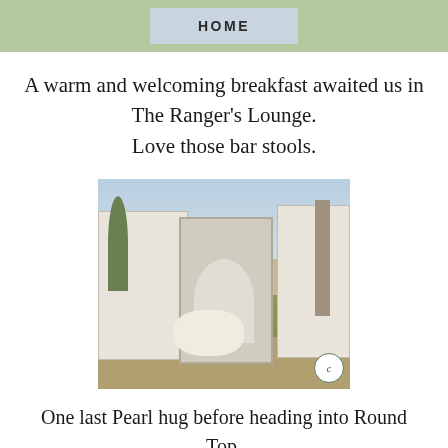HOME
A warm and welcoming breakfast awaited us in The Ranger's Lounge.
Love those bar stools.
[Figure (photo): Person sitting outside a white building with French doors, embracing a white dog on a grassy area. A small circular watermark logo appears in the bottom right corner of the photo.]
One last Pearl hug before heading into Round Top.